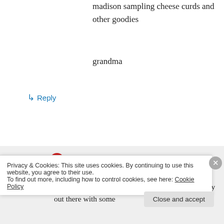madison sampling cheese curds and other goodies
grandma
↳ Reply
Allison on July 13, 2012 at 9:39 am
Grandma, I hope we can go back to the farmer's market together sometime! (Or we'll just have to fly out there with some
Privacy & Cookies: This site uses cookies. By continuing to use this website, you agree to their use. To find out more, including how to control cookies, see here: Cookie Policy
Close and accept